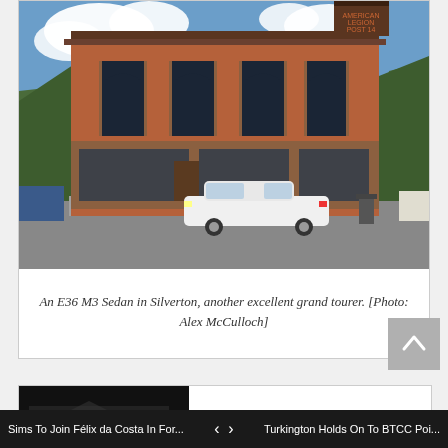[Figure (photo): An E36 M3 Sedan parked on a street in Silverton, in front of a historic two-story red brick building (American Legion Post) with arched windows on the upper floor and large storefront windows on the ground floor. Mountains and blue sky with clouds visible in the background.]
An E36 M3 Sedan in Silverton, another excellent grand tourer. [Photo: Alex McCulloch]
[Figure (photo): Partial view of a second photo card partially visible at the bottom of the page, appears to show a dark automotive scene.]
Sims To Join Félix da Costa In For... < > Turkington Holds On To BTCC Poi...